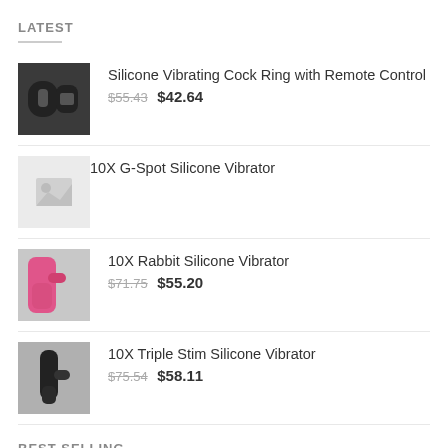LATEST
Silicone Vibrating Cock Ring with Remote Control $55.43 $42.64
10X G-Spot Silicone Vibrator
10X Rabbit Silicone Vibrator $71.75 $55.20
10X Triple Stim Silicone Vibrator $75.54 $58.11
BEST SELLING